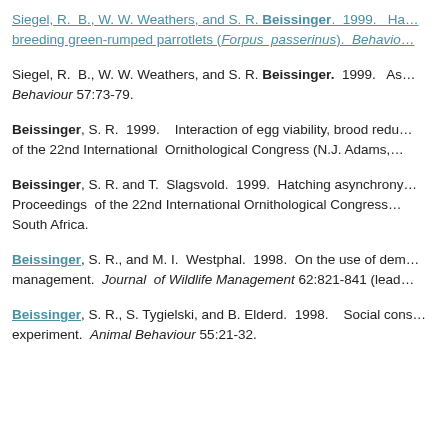Siegel, R. B., W. W. Weathers, and S. R. Beissinger. 1999. Ha... breeding green-rumped parrotlets (Forpus passerinus). Behavio...
Siegel, R. B., W. W. Weathers, and S. R. Beissinger. 1999. As... Behaviour 57:73-79.
Beissinger, S. R. 1999. Interaction of egg viability, brood redu... of the 22nd International Ornithological Congress (N.J. Adams,...
Beissinger, S. R. and T. Slagsvold. 1999. Hatching asynchrony... Proceedings of the 22nd International Ornithological Congress... South Africa.
Beissinger, S. R., and M. I. Westphal. 1998. On the use of dem... management. Journal of Wildlife Management 62:821-841 (lead...
Beissinger, S. R., S. Tygielski, and B. Elderd. 1998. Social cons... experiment. Animal Behaviour 55:21-32.